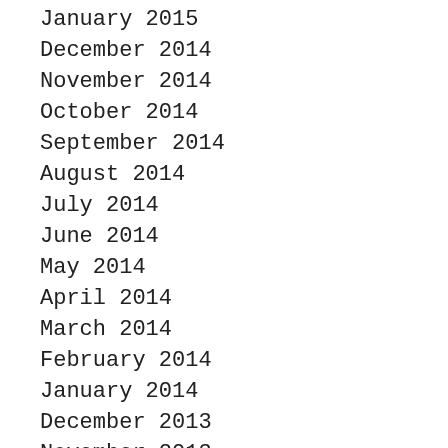January 2015
December 2014
November 2014
October 2014
September 2014
August 2014
July 2014
June 2014
May 2014
April 2014
March 2014
February 2014
January 2014
December 2013
November 2013
October 2013
September 2013
August 2013
July 2013